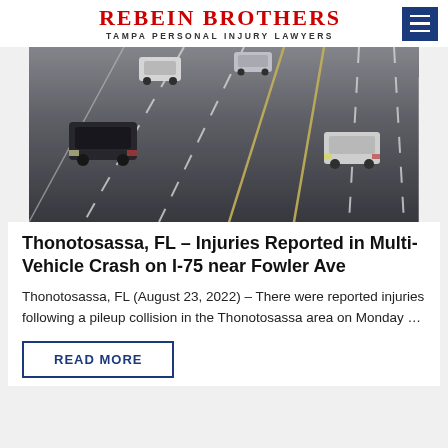REBEIN BROTHERS — TAMPA PERSONAL INJURY LAWYERS
[Figure (photo): Aerial view of a multi-lane highway with several vehicles driving on it, including SUVs and cars, photographed from a high angle showing multiple lanes with white dashed lane markings.]
Thonotosassa, FL – Injuries Reported in Multi-Vehicle Crash on I-75 near Fowler Ave
Thonotosassa, FL (August 23, 2022) – There were reported injuries following a pileup collision in the Thonotosassa area on Monday ...
READ MORE